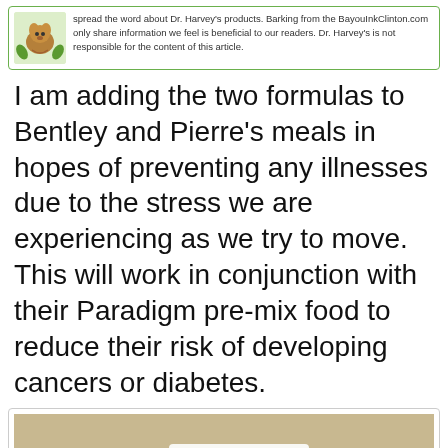spread the word about Dr. Harvey's products. Barking from the BayouInkClinton.com only share information we feel is beneficial to our readers. Dr. Harvey's is not responsible for the content of this article.
I am adding the two formulas to Bentley and Pierre's meals in hopes of preventing any illnesses due to the stress we are experiencing as we try to move. This will work in conjunction with their Paradigm pre-mix food to reduce their risk of developing cancers or diabetes.
[Figure (photo): Photo of Dr. Harvey's Solaris product box in center flanked by two white jars with silver lids labeled Sunrise (left) and Sunset (right), all sitting on a wooden surface outdoors with grass/ground in background. The Solaris box features yellow dandelion and red flower botanical illustrations.]